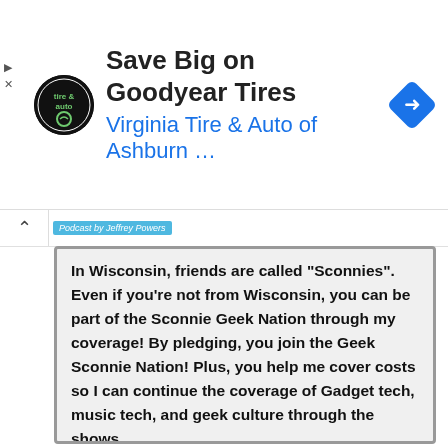[Figure (other): Advertisement banner for Virginia Tire & Auto of Ashburn featuring a circular logo, bold headline 'Save Big on Goodyear Tires', subtitle 'Virginia Tire & Auto of Ashburn ...', and a blue diamond navigation arrow icon]
In Wisconsin, friends are called "Sconnies". Even if you're not from Wisconsin, you can be part of the Sconnie Geek Nation through my coverage! By pledging, you join the Geek Sconnie Nation! Plus, you help me cover costs so I can continue the coverage of Gadget tech, music tech, and geek culture through the shows.
Apple vs. Microsoft and Hewlett-Packard
The Michelangelo Virus
The Bring Newton Back Protest